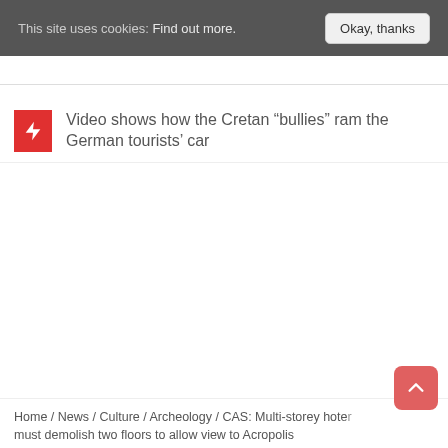This site uses cookies: Find out more. Okay, thanks
Video shows how the Cretan “bullies” ram the German tourists’ car
Home / News / Culture / Archeology / CAS: Multi-storey hotel must demolish two floors to allow view to Acropolis